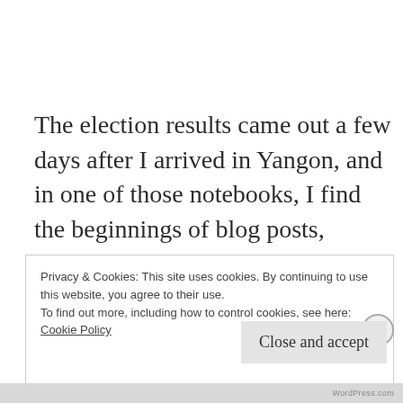The election results came out a few days after I arrived in Yangon, and in one of those notebooks, I find the beginnings of blog posts, unfinished drafts titled things like, “Do You Love Your Neighbor?” and “All Right, America,
Privacy & Cookies: This site uses cookies. By continuing to use this website, you agree to their use.
To find out more, including how to control cookies, see here:
Cookie Policy
Close and accept
WordPress.com